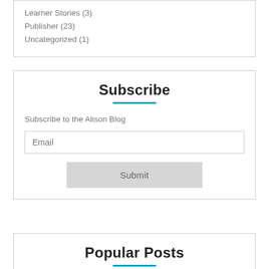Learner Stories (3)
Publisher (23)
Uncategorized (1)
Subscribe
Subscribe to the Alison Blog
Popular Posts
Alison's Top 10 Fre...